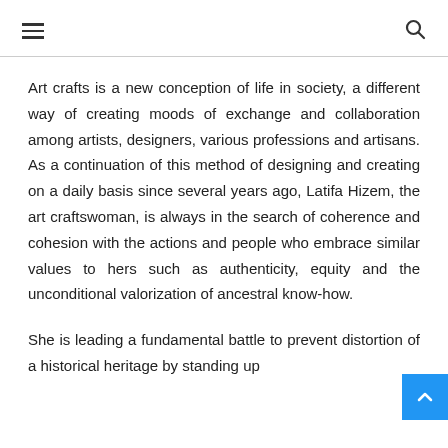≡  🔍
Art crafts is a new conception of life in society, a different way of creating moods of exchange and collaboration among artists, designers, various professions and artisans. As a continuation of this method of designing and creating on a daily basis since several years ago, Latifa Hizem, the art craftswoman, is always in the search of coherence and cohesion with the actions and people who embrace similar values to hers such as authenticity, equity and the unconditional valorization of ancestral know-how.
She is leading a fundamental battle to prevent distortion of a historical heritage by standing up